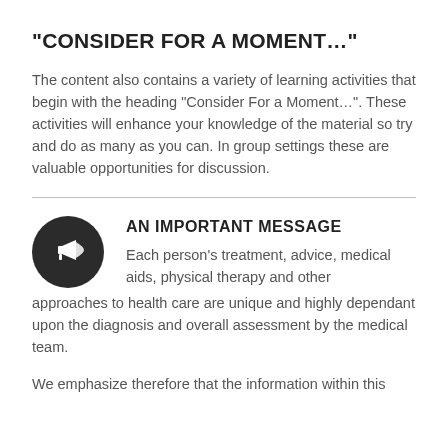“CONSIDER FOR A MOMENT…”
The content also contains a variety of learning activities that begin with the heading “Consider For a Moment…”. These activities will enhance your knowledge of the material so try and do as many as you can. In group settings these are valuable opportunities for discussion.
AN IMPORTANT MESSAGE
Each person’s treatment, advice, medical aids, physical therapy and other approaches to health care are unique and highly dependant upon the diagnosis and overall assessment by the medical team.
We emphasize therefore that the information within this